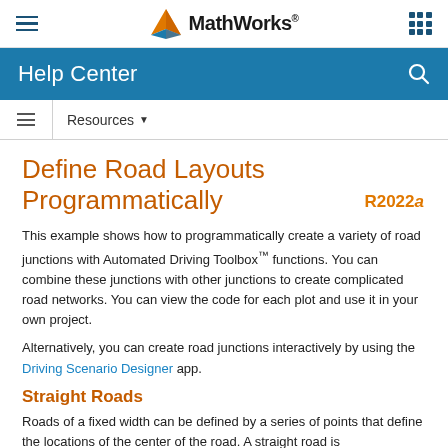MathWorks Help Center
Define Road Layouts Programmatically
This example shows how to programmatically create a variety of road junctions with Automated Driving Toolbox™ functions. You can combine these junctions with other junctions to create complicated road networks. You can view the code for each plot and use it in your own project.
Alternatively, you can create road junctions interactively by using the Driving Scenario Designer app.
Straight Roads
Roads of a fixed width can be defined by a series of points that define the locations of the center of the road. A straight road is